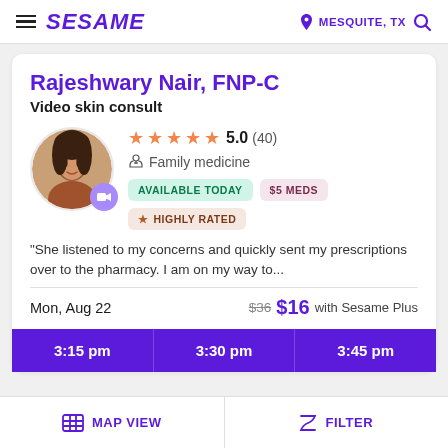SESAME  MESQUITE, TX
Rajeshwary Nair, FNP-C
Video skin consult
[Figure (photo): Headshot photo of Rajeshwary Nair with video camera badge]
5.0 (40) Family medicine AVAILABLE TODAY $5 MEDS HIGHLY RATED
"She listened to my concerns and quickly sent my prescriptions over to the pharmacy. I am on my way to...
Mon, Aug 22   $36  $16 with Sesame Plus
3:15 pm   3:30 pm   3:45 pm
MAP VIEW   FILTER